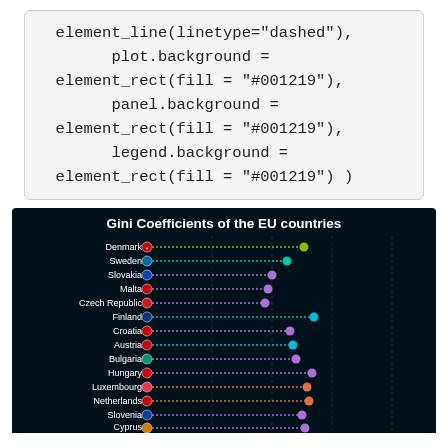element_line(linetype="dashed"),
        plot.background =
 element_rect(fill = "#001219"),
        panel.background =
 element_rect(fill = "#001219"),
        legend.background =
 element_rect(fill = "#001219") )
[Figure (bar-chart): Horizontal lollipop/dot chart showing Gini Coefficients for EU countries on a dark navy background. Countries listed: Denmark, Sweden, Slovakia, Malta, Czech Republic, Finland, Croatia, Austria, Bulgaria, Hungary, Luxembourg, Netherlands, Slovenia, Cyprus, Romania (partially visible). Each country has a flag icon, a horizontal colored line and a dot at the end.]